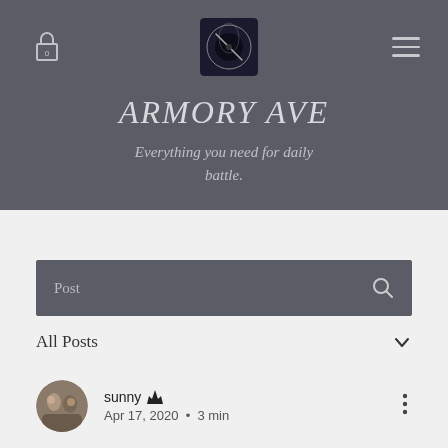ARMORY AVE
Everything you need for daily battle.
Post
All Posts
sunny ♛
Apr 17, 2020 · 3 min